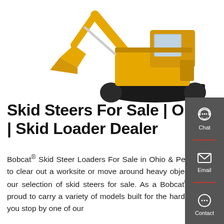[Figure (photo): Yellow excavator/crawler machine on white background]
Skid Steers For Sale | OH & PA | Skid Loader Dealer
Bobcat® Skid Steer Loaders For Sale in Ohio & Pennsylvania. When you need to clear out a worksite or move around heavy objects, you'll want to check out our selection of skid steers for sale. As a Bobcat® skid steer dealer, we are proud to carry a variety of models built for the hardest tasks. Take a look when you stop by one of our